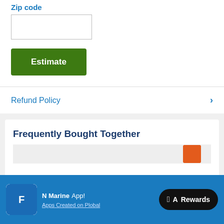Zip code
Estimate
Refund Policy
Frequently Bought Together
Chat with us
N Marine App!
Apps Created on Plobal
Rewards